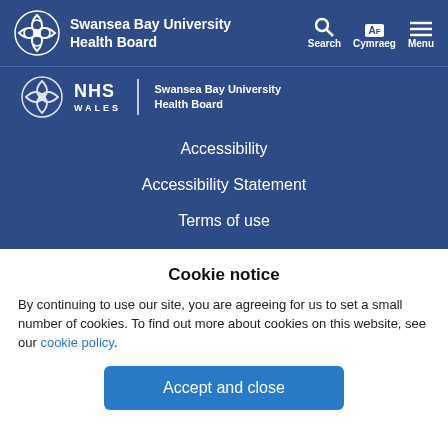Swansea Bay University Health Board — Search Cymraeg Menu
[Figure (logo): NHS Wales Swansea Bay University Health Board logo with Celtic knot emblem]
Accessibility
Accessibility Statement
Terms of use
Cookie notice
By continuing to use our site, you are agreeing for us to set a small number of cookies. To find out more about cookies on this website, see our cookie policy.